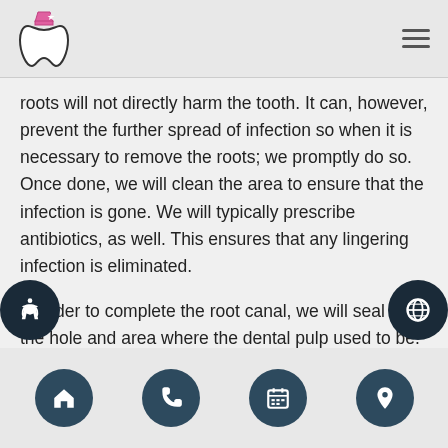Dental clinic logo and navigation menu
roots will not directly harm the tooth. It can, however, prevent the further spread of infection so when it is necessary to remove the roots; we promptly do so. Once done, we will clean the area to ensure that the infection is gone. We will typically prescribe antibiotics, as well. This ensures that any lingering infection is eliminated.
In order to complete the root canal, we will seal up the hole and area where the dental pulp used to be. This is typically done with something called gutta-percha. This is a rubber-like substance that can help to stabilize the tooth
Navigation bar: home, phone, calendar, location